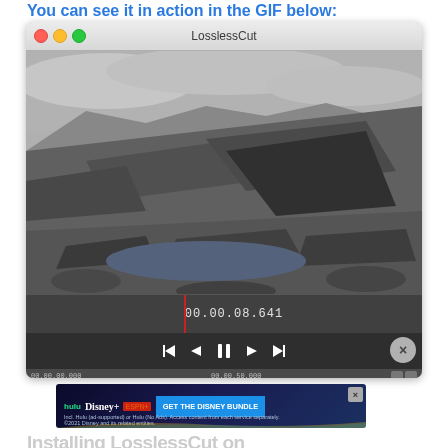You can see it in action in the GIF below:
[Figure (screenshot): LosslessCut application window showing a black-and-white video of a rocky landscape with a lake. The window has a macOS-style title bar with traffic light buttons (red, yellow, green) and title 'LosslessCut'. Below the video is a timeline showing timecode 00.00.08.641 with a red playhead marker and playback controls (skip to start, previous frame, pause, next frame, skip to end). A close circle button with X is visible. A bottom strip shows additional timeline information.]
[Figure (screenshot): Advertisement banner for Disney Bundle featuring Hulu, Disney+, and ESPN+ logos with a blue 'GET THE DISNEY BUNDLE' call-to-action button. Fine print reads 'Incl. Hulu (ad-supported) or Hulu (No Ads). Access content from each service separately. ©2021 Disney and its related entities.' Has a close X button.]
Installing LosslessCut on